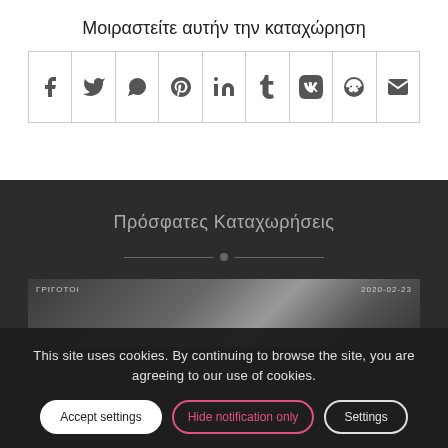Μοιραστείτε αυτήν την καταχώρηση
[Figure (other): Row of social media share icon buttons: Facebook, Twitter, WhatsApp, Pinterest, LinkedIn, Tumblr, VK, Reddit, Email]
Πρόσφατες Καταχωρήσεις
[Figure (photo): Partial thumbnail image of a recent post, dark mechanical/industrial scene with date stamps visible]
This site uses cookies. By continuing to browse the site, you are agreeing to our use of cookies.
Accept settings   Hide notification only   Settings